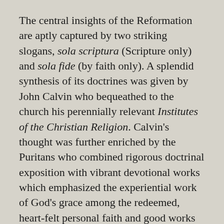The central insights of the Reformation are aptly captured by two striking slogans, sola scriptura (Scripture only) and sola fide (by faith only). A splendid synthesis of its doctrines was given by John Calvin who bequeathed to the church his perennially relevant Institutes of the Christian Religion. Calvin's thought was further enriched by the Puritans who combined rigorous doctrinal exposition with vibrant devotional works which emphasized the experiential work of God's grace among the redeemed, heart-felt personal faith and good works for comprehensive reforms of society.
The historical roots of Evangelicalism also include the early Baptists movements and the Pietists exemplified by Philip Jacob Spener